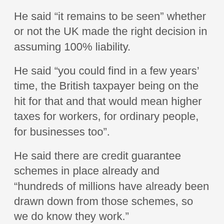He said “it remains to be seen” whether or not the UK made the right decision in assuming 100% liability.
He said “you could find in a few years’ time, the British taxpayer being on the hit for that and that would mean higher taxes for workers, for ordinary people, for businesses too”.
He said there are credit guarantee schemes in place already and “hundreds of millions have already been drawn down from those schemes, so we do know they work.”
He said about €100m was drawn down from the one that was set up back in 2012 and about €150m from the Covid one set up more recently, but he said “we want lending of about €2bn to be out there in the economy and we believe that this